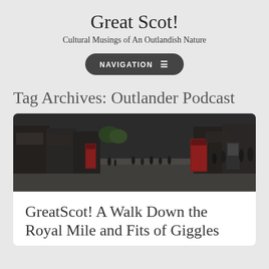Great Scot!
Cultural Musings of An Outlandish Nature
NAVIGATION ☰
Tag Archives: Outlander Podcast
[Figure (photo): Street scene of the Royal Mile in Edinburgh, Scotland. A wide pedestrian street with red telephone boxes, stone buildings with shops on both sides, and people walking. Dark, overcast sky.]
GreatScot! A Walk Down the Royal Mile and Fits of Giggles